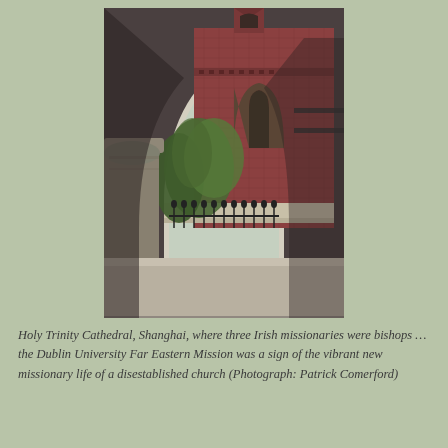[Figure (photo): A photograph taken through a stone arch looking out at Holy Trinity Cathedral, Shanghai. The view shows red brick Gothic-style architecture with arched windows, green trees in a courtyard, ornamental iron railings, a stone balustrade column in the foreground lower left, and stone ledges. The building features decorative brickwork and multiple arched window openings.]
Holy Trinity Cathedral, Shanghai, where three Irish missionaries were bishops … the Dublin University Far Eastern Mission was a sign of the vibrant new missionary life of a disestablished church (Photograph: Patrick Comerford)